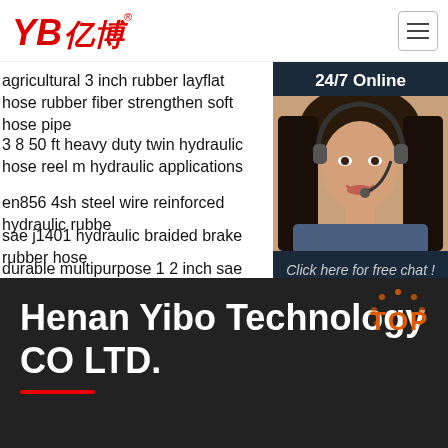YB亿博® [logo] [hamburger menu]
agricultural 3 inch rubber layflat hose rubber fiber strengthen soft hose pipe
3 8 50 ft heavy duty twin hydraulic hose reel m hydraulic applications
en856 4sh steel wire reinforced hydraulic rubbe
sae j1401 hydraulic braided brake rubber hose
durable multipurpose 1 2 inch sae r5 cotton bra ce
henan factory ghana 20mm low pressure lpg g gauge rubber lpg gas hose pipe lpg gas regula cylinder
[Figure (photo): Customer service agent photo with headset, smiling woman in blue shirt, part of 24/7 Online chat widget with dark blue background, 'Click here for free chat!' text, and orange QUOTATION button]
Henan Yibo Technology CO LTD.